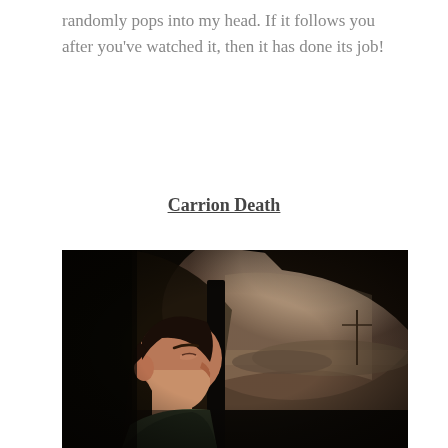randomly pops into my head. If it follows you after you've watched it, then it has done its job!
Carrion Death
[Figure (photo): A man with dark hair sitting in the driver seat of a car, viewed from the passenger side, with a landscape visible through the windshield in the background. Moody, cinematic lighting with warm tones.]